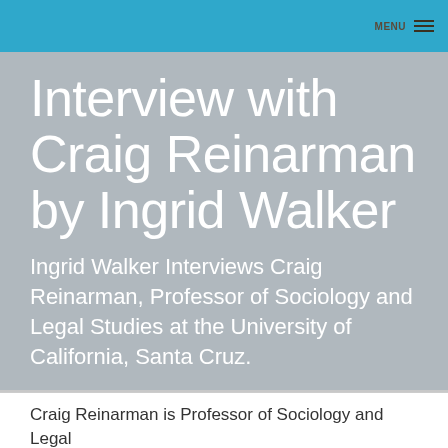MENU
Interview with Craig Reinarman by Ingrid Walker
Ingrid Walker Interviews Craig Reinarman, Professor of Sociology and Legal Studies at the University of California, Santa Cruz.
Craig Reinarman is Professor of Sociology and Legal